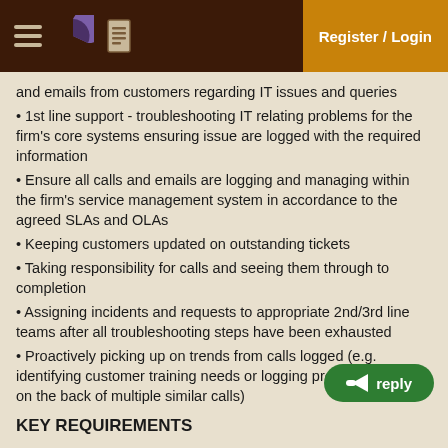Register / Login
and emails from customers regarding IT issues and queries
• 1st line support - troubleshooting IT relating problems for the firm's core systems ensuring issue are logged with the required information
• Ensure all calls and emails are logging and managing within the firm's service management system in accordance to the agreed SLAs and OLAs
• Keeping customers updated on outstanding tickets
• Taking responsibility for calls and seeing them through to completion
• Assigning incidents and requests to appropriate 2nd/3rd line teams after all troubleshooting steps have been exhausted
• Proactively picking up on trends from calls logged (e.g. identifying customer training needs or logging problem records on the back of multiple similar calls)
KEY REQUIREMENTS